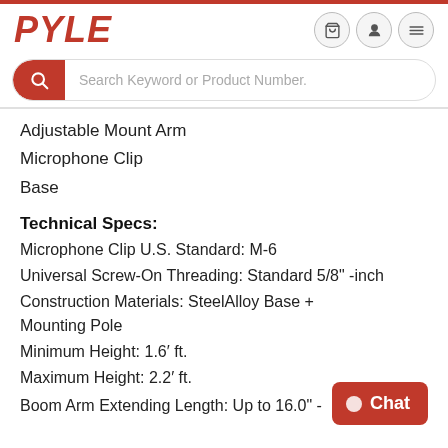PYLE
Adjustable Mount Arm
Microphone Clip
Base
Technical Specs:
Microphone Clip U.S. Standard: M-6
Universal Screw-On Threading: Standard 5/8" -inch
Construction Materials: SteelAlloy Base + Mounting Pole
Minimum Height: 1.6’ ft.
Maximum Height: 2.2’ ft.
Boom Arm Extending Length: Up to 16.0" -